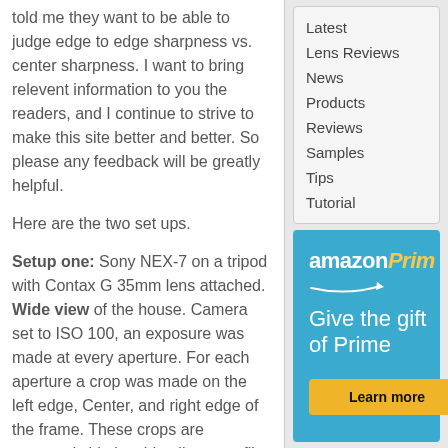told me they want to be able to judge edge to edge sharpness vs. center sharpness. I want to bring relevent information to you the readers, and I continue to strive to make this site better and better. So please any feedback will be greatly helpful.
Here are the two set ups.
Setup one: Sony NEX-7 on a tripod with Contax G 35mm lens attached. Wide view of the house. Camera set to ISO 100, an exposure was made at every aperture. For each aperture a crop was made on the left edge, Center, and right edge of the frame. These crops are arranged side by side all on one file. The location of these crops are indicated by the red outline on the full
Latest
Lens Reviews
News
Products
Reviews
Samples
Tips
Tutorial
[Figure (infographic): Amazon Prime advertisement banner with blue background showing 'amazonPrime' logo, tagline 'Give the gift of Prime', and a 'Learn more' button in yellow/gold.]